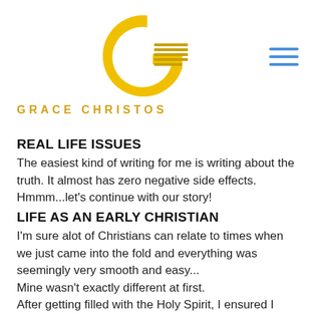[Figure (logo): Grace Christos logo: a large yellow G with horizontal lines inside, forming a circular G lettermark]
GRACE CHRISTOS
REAL LIFE ISSUES
The easiest kind of writing for me is writing about the truth. It almost has zero negative side effects. Hmmm...let's continue with our story!
LIFE AS AN EARLY CHRISTIAN
I'm sure alot of Christians can relate to times when we just came into the fold and everything was seemingly very smooth and easy...
Mine wasn't exactly different at first.
After getting filled with the Holy Spirit, I ensured I